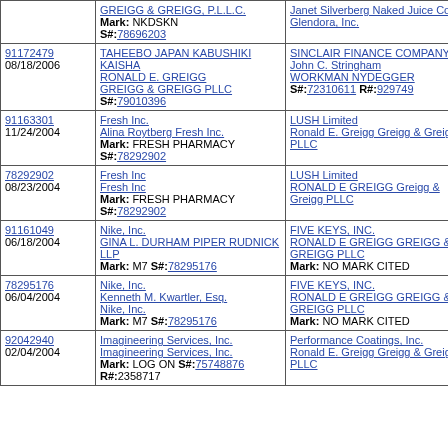| Case / Date | Plaintiff | Defendant |
| --- | --- | --- |
|  | GREIGG & GREIGG, P.L.L.C.
Mark: NKDSKN
S#:78696203 | Janet Silverberg Naked Juice Co. of Glendora, Inc. |
| 91172479
08/18/2006 | TAHEEBO JAPAN KABUSHIKI KAISHA
RONALD E. GREIGG
GREIGG & GREIGG PLLC
S#:79010396 | SINCLAIR FINANCE COMPANY
John C. Stringham
WORKMAN NYDEGGER
S#:72310611 R#:929749 |
| 91163301
11/24/2004 | Fresh Inc.
Alina Roytberg Fresh Inc.
Mark: FRESH PHARMACY
S#:78292902 | LUSH Limited
Ronald E. Greigg Greigg & Greigg PLLC |
| 78292902
08/23/2004 | Fresh Inc
Fresh Inc
Mark: FRESH PHARMACY
S#:78292902 | LUSH Limited
RONALD E GREIGG Greigg & Greigg PLLC |
| 91161049
06/18/2004 | Nike, Inc.
GINA L. DURHAM PIPER RUDNICK LLP
Mark: M7 S#:78295176 | FIVE KEYS, INC.
RONALD E GREIGG GREIGG & GREIGG PLLC
Mark: NO MARK CITED |
| 78295176
06/04/2004 | Nike, Inc.
Kenneth M. Kwartler, Esq.
Nike, Inc.
Mark: M7 S#:78295176 | FIVE KEYS, INC.
RONALD E GREIGG GREIGG & GREIGG PLLC
Mark: NO MARK CITED |
| 92042940
02/04/2004 | Imagineering Services, Inc.
Imagineering Services, Inc.
Mark: LOG ON S#:75748876
R#:2358717 | Performance Coatings, Inc.
Ronald E. Greigg Greigg & Greigg, PLLC |